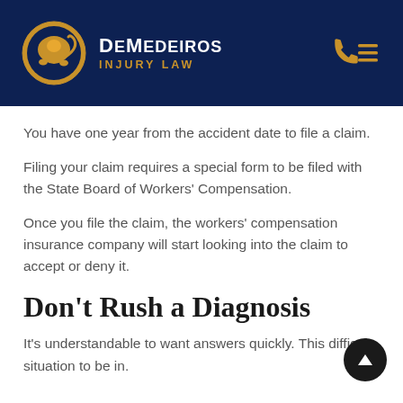[Figure (logo): DeMedeiros Injury Law logo with lion emblem in gold circle on dark navy header, with phone and menu icons on the right]
You have one year from the accident date to file a claim.
Filing your claim requires a special form to be filed with the State Board of Workers' Compensation.
Once you file the claim, the workers' compensation insurance company will start looking into the claim to accept or deny it.
Don't Rush a Diagnosis
It's understandable to want answers quickly. This difficult situation to be in.